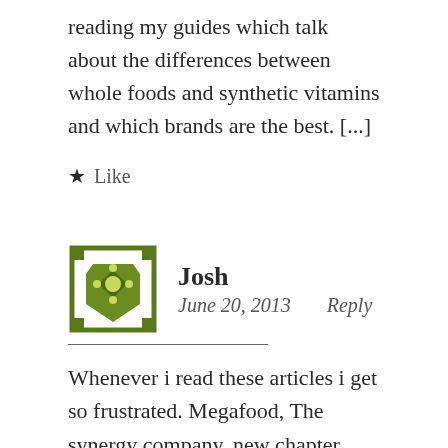reading my guides which talk about the differences between whole foods and synthetic vitamins and which brands are the best. [...]
★ Like
Josh
June 20, 2013    Reply
Whenever i read these articles i get so frustrated. Megafood, The synergy company, new chapter, garden of life dont make whole food vitamins. They feed or ferment regular isolated or synthetic vitamins with yeast and then pretend they are whole food. I really wish